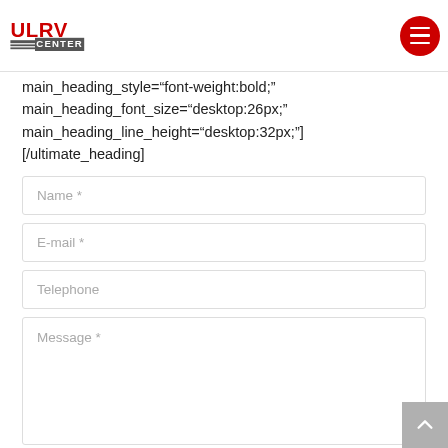ULRV CENTER logo and navigation menu
main_heading_style="font-weight:bold;" main_heading_font_size="desktop:26px;" main_heading_line_height="desktop:32px;"] [/ultimate_heading]
[Figure (screenshot): Web contact form with fields: Name *, E-mail *, Telephone, Message *]